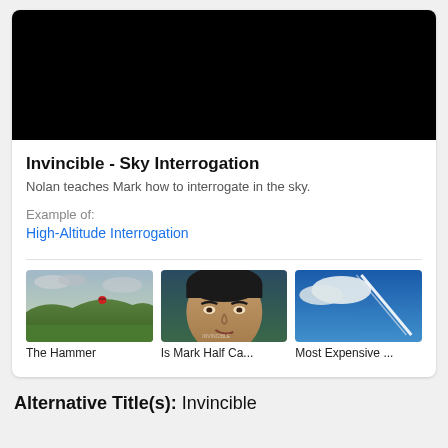[Figure (screenshot): Black video thumbnail for Invincible - Sky Interrogation]
Invincible - Sky Interrogation
Nolan teaches Mark how to interrogate in the sky.
Example of:
High-Altitude Interrogation
[Figure (screenshot): Thumbnail: The Hammer - landscape with helicopter]
The Hammer
[Figure (screenshot): Thumbnail: Is Mark Half Ca... - animated character face]
Is Mark Half Ca...
[Figure (screenshot): Thumbnail: Most Expensive ... - blue sky scene]
Most Expensive ...
Alternative Title(s): Invincible